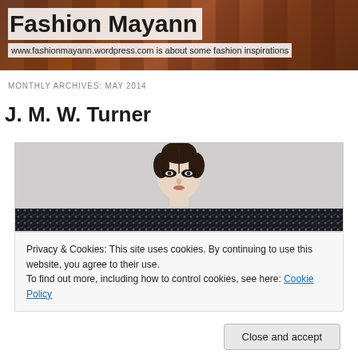Fashion Mayann
www.fashionmayann.wordpress.com is about some fashion inspirations
MONTHLY ARCHIVES: MAY 2014
J. M. W. Turner
[Figure (photo): Fashion model photo: a woman with dark hair pulled back, light skin, dramatic eye makeup, facing forward. Background is light grey. Lower portion shows another image with a sparkly/sequined garment.]
Privacy & Cookies: This site uses cookies. By continuing to use this website, you agree to their use.
To find out more, including how to control cookies, see here: Cookie Policy
Close and accept